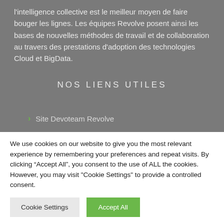l'intelligence collective est le meilleur moyen de faire bouger les lignes. Les équipes Revolve posent ainsi les bases de nouvelles méthodes de travail et de collaboration au travers des prestations d'adoption des technologies Cloud et BigData.
NOS LIENS UTILES
Site Devoteam Revolve
We use cookies on our website to give you the most relevant experience by remembering your preferences and repeat visits. By clicking "Accept All", you consent to the use of ALL the cookies. However, you may visit "Cookie Settings" to provide a controlled consent.